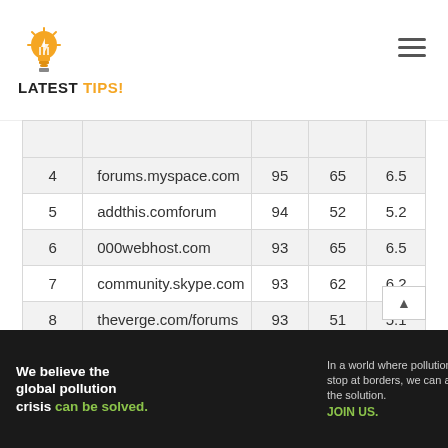LATEST TIPS!
| # | Domain |  |  |  |
| --- | --- | --- | --- | --- |
| 4 | forums.myspace.com | 95 | 65 | 6.5 |
| 5 | addthis.comforum | 94 | 52 | 5.2 |
| 6 | 000webhost.com | 93 | 65 | 6.5 |
| 7 | community.skype.com | 93 | 62 | 6.2 |
| 8 | theverge.com/forums | 93 | 51 | 5.1 |
| 9 | answers.yahoo.com | 92 | 72 | 7.2 |
| 10 | flickr.com/helpforum | 92 | 53 | 5.3 |
[Figure (infographic): Pure Earth advertisement banner: 'We believe the global pollution crisis can be solved.' with Pure Earth logo]